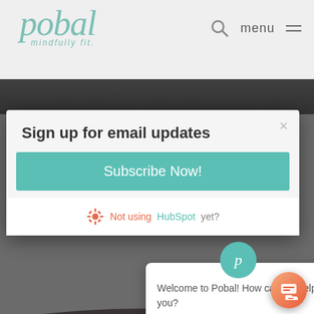[Figure (screenshot): Pobal website header with logo 'pobal mindfully fit.' in teal italic, search icon, and menu icon with lines on grey background]
[Figure (photo): Dark background hero photo strip]
Sign up for email updates
Subscribe Now!
Not using HubSpot yet?
[Figure (screenshot): HubSpot sprocket logo icon in orange/red]
[Figure (screenshot): Pobal teal circular avatar with 'p' italic]
Welcome to Pobal! How can we help you?
[Figure (photo): Dark photo of person in bottom portion of page]
[Figure (screenshot): Orange chat launcher button with chat icon]